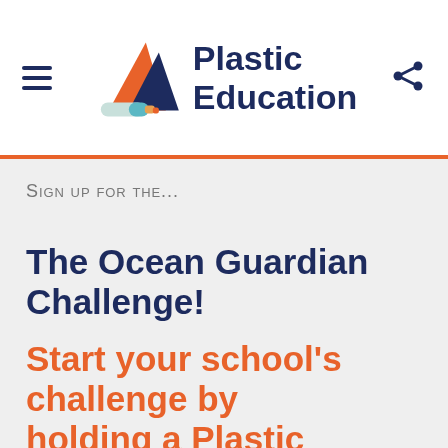[Figure (logo): Plastic Education logo with orange and navy mountain/triangle shapes and a teal pencil/bottle icon, with brand name 'Plastic Education' in dark navy bold text]
Sign up for the...
The Ocean Guardian Challenge!
Start your school's challenge by holding a Plastic...